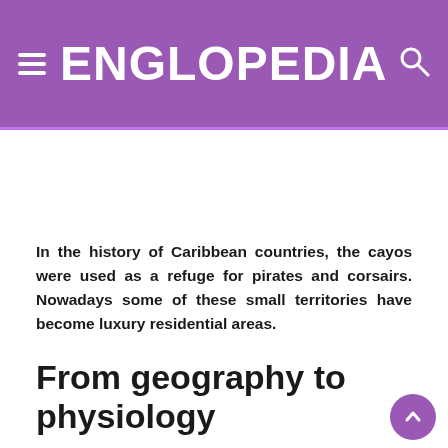ENGLOPEDIA
In the history of Caribbean countries, the cayos were used as a refuge for pirates and corsairs. Nowadays some of these small territories have become luxury residential areas.
From geography to physiology
The nomenclature of some geographic features is used the physiological description of the human body. In this sense, an isthmus is a narrow band that joins two larger